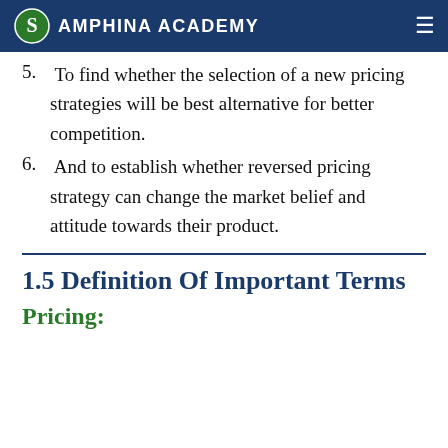SAMPHINA ACADEMY
5. To find whether the selection of a new pricing strategies will be best alternative for better competition.
6. And to establish whether reversed pricing strategy can change the market belief and attitude towards their product.
1.5 Definition Of Important Terms
Pricing: